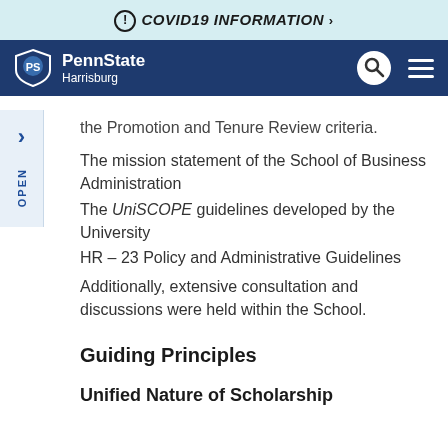COVID19 INFORMATION
[Figure (logo): Penn State Harrisburg logo with lion shield icon on dark navy navigation bar]
the Promotion and Tenure Review criteria.
The mission statement of the School of Business Administration
The UniSCOPE guidelines developed by the University
HR – 23 Policy and Administrative Guidelines
Additionally, extensive consultation and discussions were held within the School.
Guiding Principles
Unified Nature of Scholarship